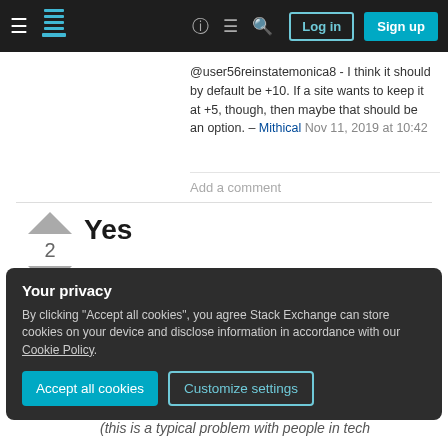Stack Exchange navigation bar with logo, help, chat, search icons and Log in / Sign up buttons
@user56reinstatemonica8 - I think it should by default be +10. If a site wants to keep it at +5, though, then maybe that should be an option. – Mithical Nov 11, 2019 at 10:42
Add a comment
Yes
Good questions are vital for the success of any site in the SE network.
Your privacy
By clicking "Accept all cookies", you agree Stack Exchange can store cookies on your device and disclose information in accordance with our Cookie Policy.
(this is a typical problem with people in tech